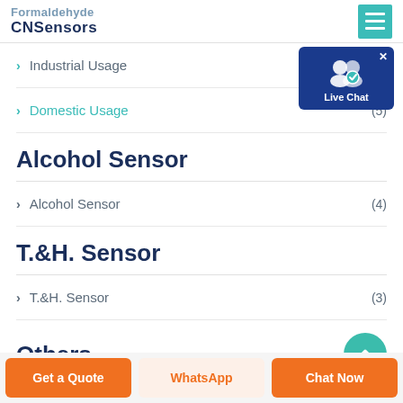Formaldehyde CNSensors
Industrial Usage (1)
Domestic Usage (5)
Alcohol Sensor
Alcohol Sensor (4)
T.&H. Sensor
T.&H. Sensor (3)
Others